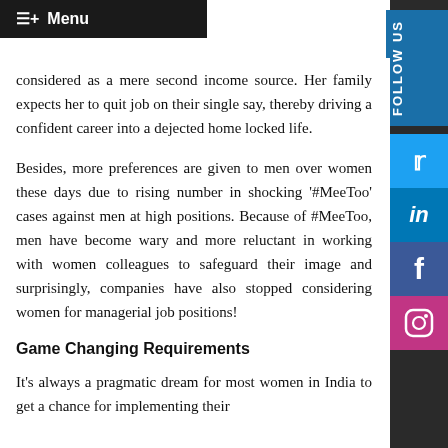Menu
considered as a mere second income source. Her family expects her to quit job on their single say, thereby driving a confident career into a dejected home locked life.
Besides, more preferences are given to men over women these days due to rising number in shocking '#MeeToo' cases against men at high positions. Because of #MeeToo, men have become wary and more reluctant in working with women colleagues to safeguard their image and surprisingly, companies have also stopped considering women for managerial job positions!
Game Changing Requirements
It's always a pragmatic dream for most women in India to get a chance for implementing their